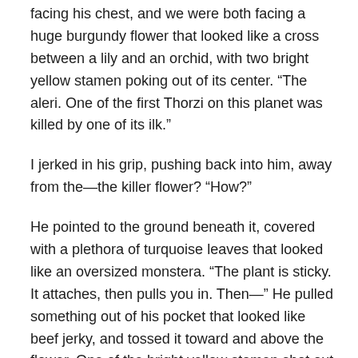facing his chest, and we were both facing a huge burgundy flower that looked like a cross between a lily and an orchid, with two bright yellow stamen poking out of its center. “The aleri. One of the first Thorzi on this planet was killed by one of its ilk.”
I jerked in his grip, pushing back into him, away from the—the killer flower? “How?”
He pointed to the ground beneath it, covered with a plethora of turquoise leaves that looked like an oversized monstera. “The plant is sticky. It attaches, then pulls you in. Then—” He pulled something out of his pocket that looked like beef jerky, and tossed it toward and above the flower. One of the bright yellow stamen shot out almost a foot from the blossom, latching onto the jerky and pulling it in. Maybe not stamen after all. The hissing sound and